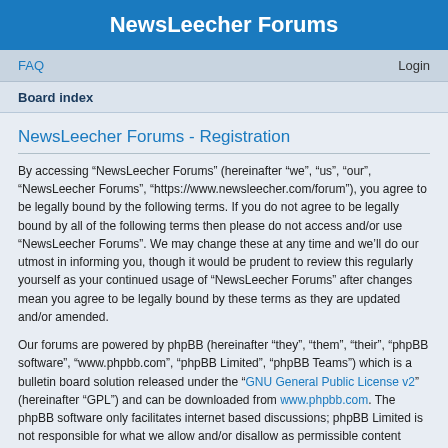NewsLeecher Forums
FAQ   Login
Board index
NewsLeecher Forums - Registration
By accessing “NewsLeecher Forums” (hereinafter “we”, “us”, “our”, “NewsLeecher Forums”, “https://www.newsleecher.com/forum”), you agree to be legally bound by the following terms. If you do not agree to be legally bound by all of the following terms then please do not access and/or use “NewsLeecher Forums”. We may change these at any time and we’ll do our utmost in informing you, though it would be prudent to review this regularly yourself as your continued usage of “NewsLeecher Forums” after changes mean you agree to be legally bound by these terms as they are updated and/or amended.
Our forums are powered by phpBB (hereinafter “they”, “them”, “their”, “phpBB software”, “www.phpbb.com”, “phpBB Limited”, “phpBB Teams”) which is a bulletin board solution released under the “GNU General Public License v2” (hereinafter “GPL”) and can be downloaded from www.phpbb.com. The phpBB software only facilitates internet based discussions; phpBB Limited is not responsible for what we allow and/or disallow as permissible content and/or conduct. For further information about phpBB, please see: https://www.phpbb.com/.